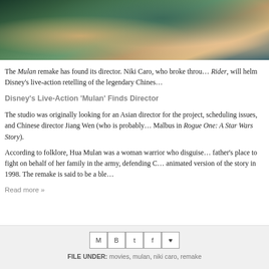[Figure (illustration): Animated screenshot from the Mulan movie showing a character in green armor with hands visible, dark background]
The Mulan remake has found its director. Niki Caro, who broke through with Whale Rider, will helm Disney's live-action retelling of the legendary Chinese
Disney's Live-Action 'Mulan' Finds Director
The studio was originally looking for an Asian director for the project, but scheduling issues, and Chinese director Jiang Wen (who is probably best known to Malbus in Rogue One: A Star Wars Story).
According to folklore, Hua Mulan was a woman warrior who disguised father's place to fight on behalf of her family in the army, defending C animated version of the story in 1998. The remake is said to be a ble
Read more »
FILE UNDER: movies, mulan, niki caro, remake